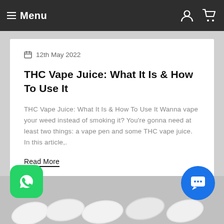Menu
12th May 2022
THC Vape Juice: What It Is & How To Use It
THC Vape Juice: What It Is & How To Use It Wanna vape your weed instead of smoking it? You're gonna need at least two things: a vape pen and some THC vape juice. In this article,.
Read More
[Figure (photo): Partial view of white capsule pills at bottom of page]